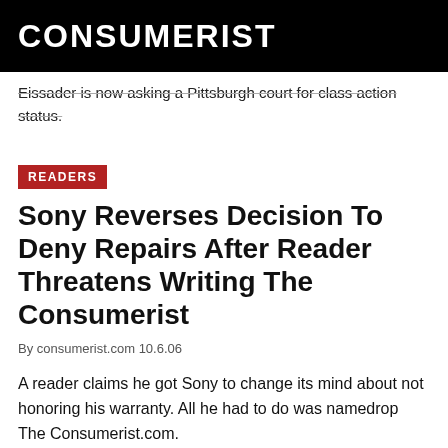CONSUMERIST
Eissader is now asking a Pittsburgh court for class action status.
READERS
Sony Reverses Decision To Deny Repairs After Reader Threatens Writing The Consumerist
By consumerist.com 10.6.06
A reader claims he got Sony to change its mind about not honoring his warranty. All he had to do was namedrop The Consumerist.com.